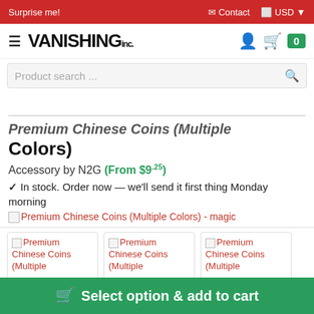Surprise me! | Contact | USD
VANISHING inc.
Product search ...
Premium Chinese Coins (Multiple Colors)
Accessory by N2G (From $9.25)
✓ In stock. Order now — we'll send it first thing Monday morning
[Figure (screenshot): Broken image placeholder with alt text: Premium Chinese Coins (Multiple Colors) - magic]
[Figure (screenshot): Three thumbnail cards each showing broken image placeholder with alt text: Premium Chinese Coins (Multiple Colors)]
Select option & add to cart